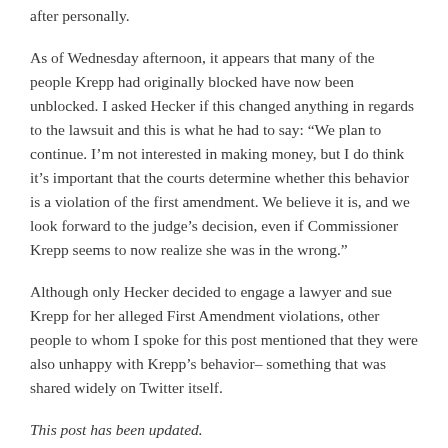after personally.
As of Wednesday afternoon, it appears that many of the people Krepp had originally blocked have now been unblocked. I asked Hecker if this changed anything in regards to the lawsuit and this is what he had to say: “We plan to continue. I’m not interested in making money, but I do think it’s important that the courts determine whether this behavior is a violation of the first amendment. We believe it is, and we look forward to the judge’s decision, even if Commissioner Krepp seems to now realize she was in the wrong.”
Although only Hecker decided to engage a lawyer and sue Krepp for her alleged First Amendment violations, other people to whom I spoke for this post mentioned that they were also unhappy with Krepp’s behavior– something that was shared widely on Twitter itself.
This post has been updated.